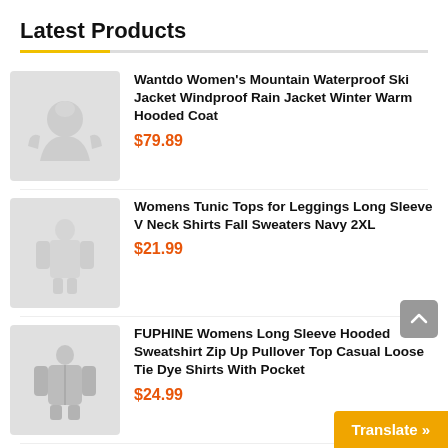Latest Products
Wantdo Women's Mountain Waterproof Ski Jacket Windproof Rain Jacket Winter Warm Hooded Coat — $79.89
Womens Tunic Tops for Leggings Long Sleeve V Neck Shirts Fall Sweaters Navy 2XL — $21.99
FUPHINE Womens Long Sleeve Hooded Sweatshirt Zip Up Pullover Top Casual Loose Tie Dye Shirts With Pocket — $24.99
Elesol Women's Casual Hoodies Long Sleeve Solid Lightweight Po...
Translate »